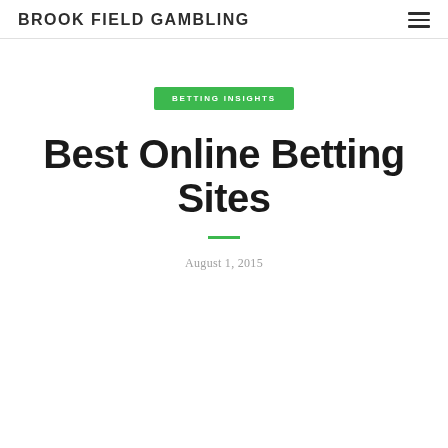BROOK FIELD GAMBLING
BETTING INSIGHTS
Best Online Betting Sites
August 1, 2015